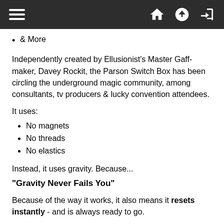Navigation bar with hamburger menu and home, upload, login icons
& More
Independently created by Ellusionist's Master Gaff-maker, Davey Rockit, the Parson Switch Box has been circling the underground magic community, among consultants, tv producers & lucky convention attendees.
It uses:
No magnets
No threads
No elastics
Instead, it uses gravity. Because...
"Gravity Never Fails You"
Because of the way it works, it also means it resets instantly - and is always ready to go.